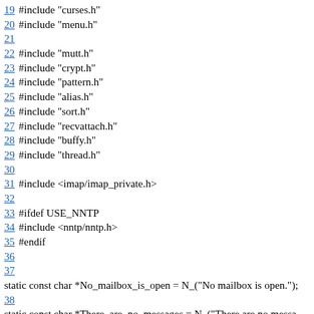19 #include "curses.h"
20 #include "menu.h"
21
22 #include "mutt.h"
23 #include "crypt.h"
24 #include "pattern.h"
25 #include "alias.h"
26 #include "sort.h"
27 #include "recvattach.h"
28 #include "buffy.h"
29 #include "thread.h"
30
31 #include <imap/imap_private.h>
32
33 #ifdef USE_NNTP
34 #include <nntp/nntp.h>
35 #endif
36
37
static const char *No_mailbox_is_open = N_("No mailbox is open.");
38
static const char *There_are_no_messages = N_("There are no messages");
39
static const char *Mailbox_is_read_only = N_("Mailbox is read-only.");